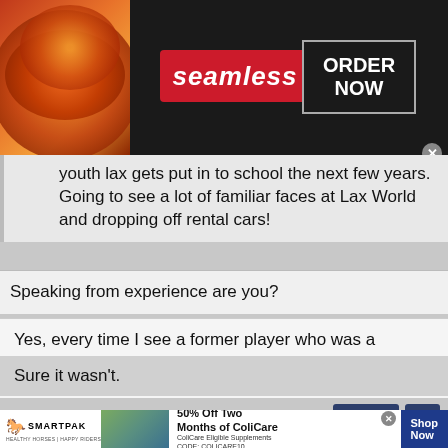[Figure (screenshot): Seamless food delivery advertisement banner with pizza image, red Seamless logo button, and ORDER NOW call-to-action box on dark background]
youth lax gets put in to school the next few years. Going to see a lot of familiar faces at Lax World and dropping off rental cars!
Speaking from experience are you?
Yes, every time I see a former player who was a "lacrosse stud" grinding their way through life with nothing but bad knees and talking about the old days a la Al Bundy. I thank God that is not my experience.
Sure it wasn't.
[Figure (screenshot): SmartPak advertisement with horse photo, 50% Off Two Months of ColiCare offer, ColiCare Eligible Supplements, CODE: COLICARE10, Shop Now button]